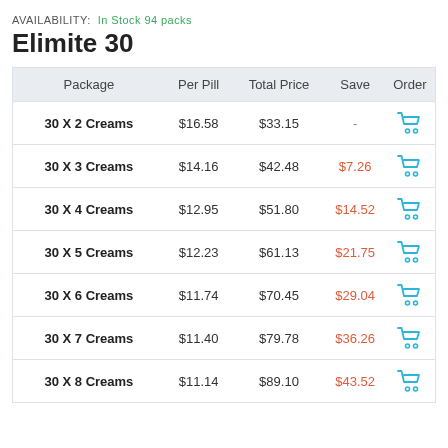AVAILABILITY:  In Stock 94 packs
Elimite 30
| Package | Per Pill | Total Price | Save | Order |
| --- | --- | --- | --- | --- |
| 30 X 2 Creams | $16.58 | $33.15 | - |  |
| 30 X 3 Creams | $14.16 | $42.48 | $7.26 |  |
| 30 X 4 Creams | $12.95 | $51.80 | $14.52 |  |
| 30 X 5 Creams | $12.23 | $61.13 | $21.75 |  |
| 30 X 6 Creams | $11.74 | $70.45 | $29.04 |  |
| 30 X 7 Creams | $11.40 | $79.78 | $36.26 |  |
| 30 X 8 Creams | $11.14 | $89.10 | $43.52 |  |